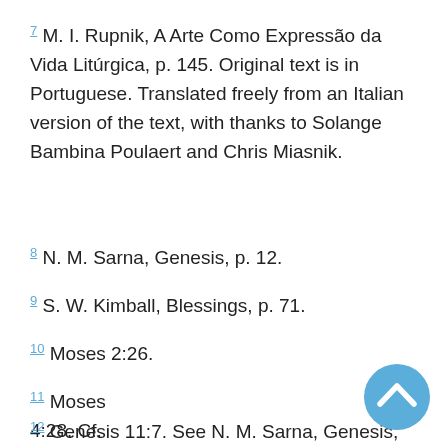7 M. I. Rupnik, A Arte Como Expressão da Vida Litúrgica, p. 145. Original text is in Portuguese. Translated freely from an Italian version of the text, with thanks to Solange Bambina Poulaert and Chris Miasnik.
8 N. M. Sarna, Genesis, p. 12.
9 S. W. Kimball, Blessings, p. 71.
10 Moses 2:26.
11 Moses 4:28. Cf. Genesis 3:22.
12 Genesis 11:7. See N. M. Sarna, Genesis, p. 12.